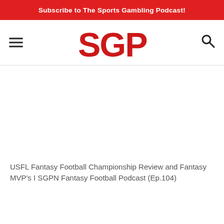Subscribe to The Sports Gambling Podcast!
[Figure (logo): SGPN logo in red letters with navigation bar including hamburger menu and search icon]
USFL Fantasy Football Championship Review and Fantasy MVP's I SGPN Fantasy Football Podcast (Ep.104)